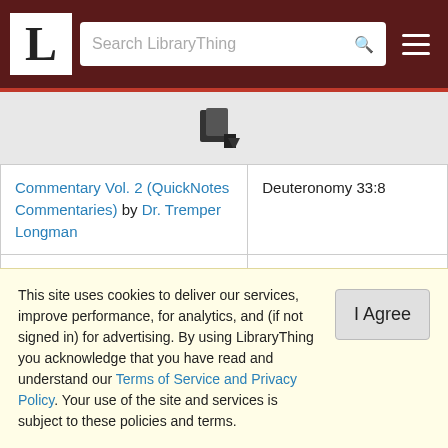LibraryThing — Search LibraryThing
[Figure (other): LibraryThing logo L in white box on dark red navbar, search bar, hamburger menu]
| Book | References |
| --- | --- |
| Commentary Vol. 2 (QuickNotes Commentaries) by Dr. Tremper Longman | Deuteronomy 33:8 |
| The Renovare Spiritual Formation Bible by Richard J. Foster | Exodus 28:30, Leviticus 8:8, Deuteronomy 33:8, Ezra 2:63, Nehemiah 7:65 |
|  | Exodus 28:30, |
This site uses cookies to deliver our services, improve performance, for analytics, and (if not signed in) for advertising. By using LibraryThing you acknowledge that you have read and understand our Terms of Service and Privacy Policy. Your use of the site and services is subject to these policies and terms.